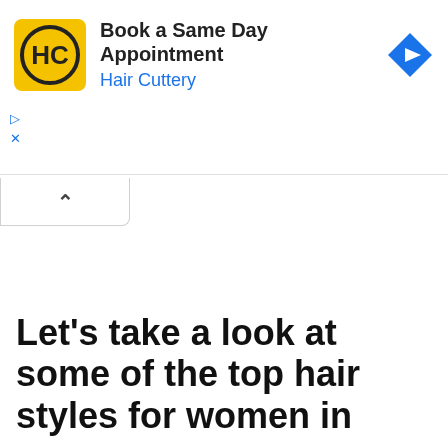[Figure (screenshot): Hair Cuttery advertisement banner with yellow HC logo, text 'Book a Same Day Appointment' and 'Hair Cuttery' in blue, blue diamond navigation icon on right, with ad controls (play/close icons) below left]
Let’s take a look at some of the top hair styles for women in